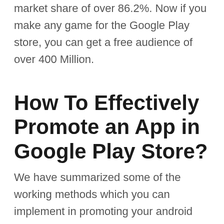market share of over 86.2%. Now if you make any game for the Google Play store, you can get a free audience of over 400 Million.
How To Effectively Promote an App in Google Play Store?
We have summarized some of the working methods which you can implement in promoting your android App in Google play store.